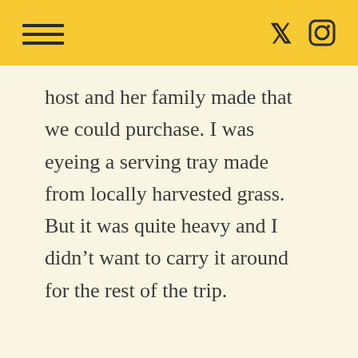host and her family made that we could purchase. I was eyeing a serving tray made from locally harvested grass. But it was quite heavy and I didn’t want to carry it around for the rest of the trip.